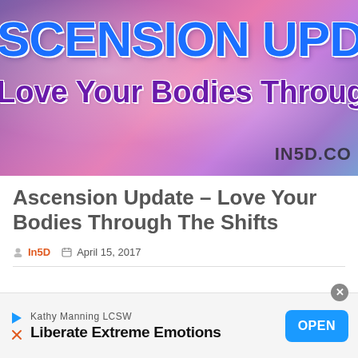[Figure (illustration): Banner image with cosmic/galaxy background in purple/pink tones. Large blue bold text reads 'SCENSION UPDAT' (partially cropped). Below in purple bold text: 'Love Your Bodies Through The Shifts'. Watermark 'IN5D.CO' in bottom right.]
Ascension Update – Love Your Bodies Through The Shifts
In5D  April 15, 2017
[Figure (screenshot): Advertisement bar at bottom: Kathy Manning LCSW / Liberate Extreme Emotions with OPEN button in blue. Close X button at top right.]